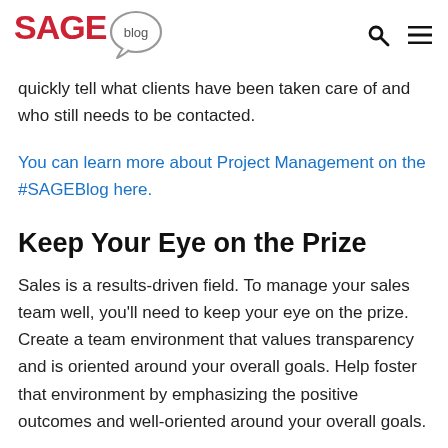SAGE blog
quickly tell what clients have been taken care of and who still needs to be contacted.
You can learn more about Project Management on the #SAGEBlog here.
Keep Your Eye on the Prize
Sales is a results-driven field. To manage your sales team well, you'll need to keep your eye on the prize. Create a team environment that values transparency and is oriented around your overall goals. Help foster that environment by emphasizing the positive outcomes and well-oriented around your overall goals.